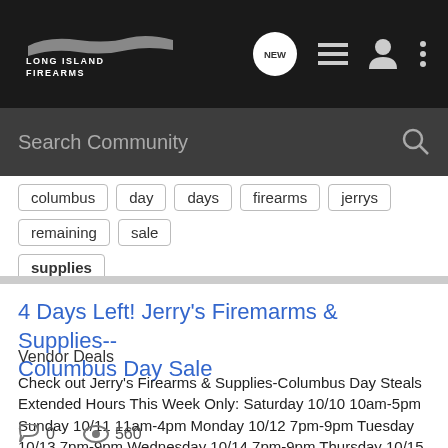[Figure (screenshot): Long Island Firearms website navigation bar with logo, NEW bubble icon, list icon, user icon, and dots menu icon on dark background]
[Figure (screenshot): Search Community search bar with magnifying glass icon on dark grey background]
columbus
day
days
firearms
jerrys
remaining
sale
supplies
4 Days Left! Jerry's Firemarms & Supplies-- Columbus Day Sale
Vendor Deals
Check out Jerry's Firearms & Supplies-Columbus Day Steals Extended Hours This Week Only: Saturday 10/10 10am-5pm Sunday 10/11 11am-4pm Monday 10/12 7pm-9pm Tuesday 10/13 7pm-9pm Wednesday 10/14 7pm-9pm Thursday 10/15 closed...
0  560